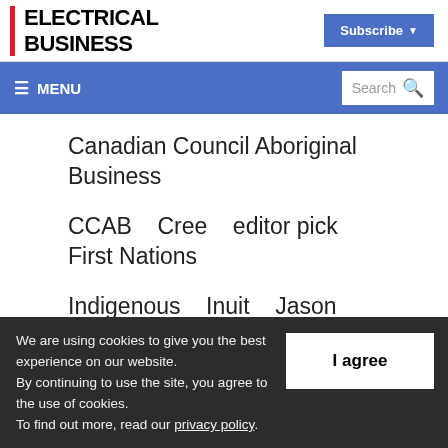ELECTRICAL BUSINESS
Subscribe
Canadian Council Aboriginal Business
CCAB   Cree   editor pick   First Nations
Indigenous   Inuit   Jason Carter
Luanne Whitecrow   Metis   Nehiyaw
We are using cookies to give you the best experience on our website. By continuing to use the site, you agree to the use of cookies. To find out more, read our privacy policy.